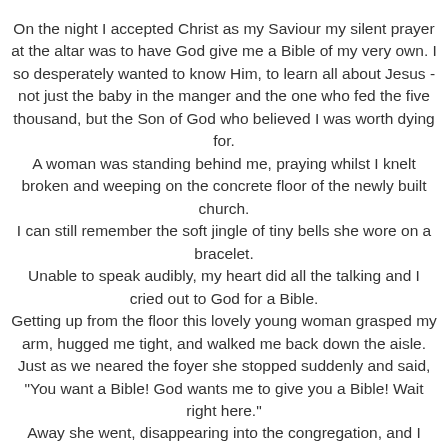On the night I accepted Christ as my Saviour my silent prayer at the altar was to have God give me a Bible of my very own. I so desperately wanted to know Him, to learn all about Jesus - not just the baby in the manger and the one who fed the five thousand, but the Son of God who believed I was worth dying for.
A woman was standing behind me, praying whilst I knelt broken and weeping on the concrete floor of the newly built church.
I can still remember the soft jingle of tiny bells she wore on a bracelet.
Unable to speak audibly, my heart did all the talking and I cried out to God for a Bible.
Getting up from the floor this lovely young woman grasped my arm, hugged me tight, and walked me back down the aisle. Just as we neared the foyer she stopped suddenly and said, "You want a Bible! God wants me to give you a Bible! Wait right here."
Away she went, disappearing into the congregation, and I